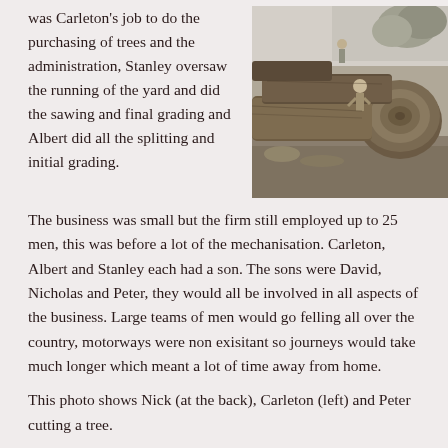was Carleton’s job to do the purchasing of trees and the administration, Stanley oversaw the running of the yard and did the sawing and final grading and Albert did all the splitting and initial grading.
[Figure (photo): Black and white photograph showing men working with large felled tree logs outdoors.]
The business was small but the firm still employed up to 25 men, this was before a lot of the mechanisation. Carleton, Albert and Stanley each had a son. The sons were David, Nicholas and Peter, they would all be involved in all aspects of the business. Large teams of men would go felling all over the country, motorways were non exisitant so journeys would take much longer which meant a lot of time away from home.
This photo shows Nick (at the back), Carleton (left) and Peter cutting a tree.